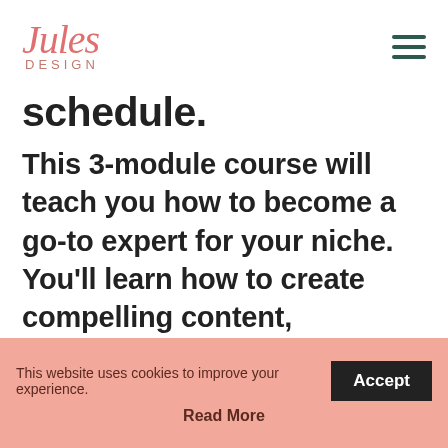[Figure (logo): Jules Design logo with stylized italic serif text 'Jules' in salmon/coral color and 'DESIGN' in small caps below]
schedule.
This 3-module course will teach you how to become a go-to expert for your niche. You'll learn how to create compelling content, skyrocket your email list growth, and SEO best practices.
The course includes 3 video lessons
This website uses cookies to improve your experience.
Accept
Read More